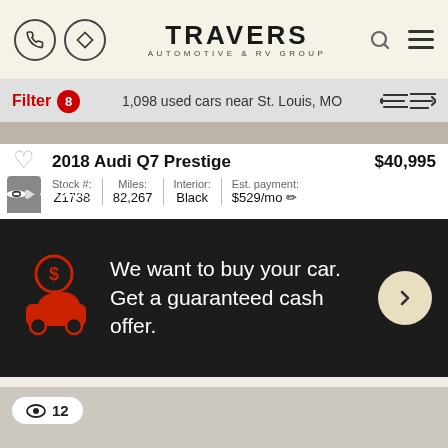TRAVERS AUTOMOTIVE & RV GROUP
Filter 8 — 1,098 used cars near St. Louis, MO
2018 Audi Q7 Prestige — $40,995
| Stock # | Miles: | Interior: | Est. payment: |
| --- | --- | --- | --- |
| Z1738 | 82,267 | Black | $529/mo |
[Figure (infographic): Red car with dollar sign icon promoting guaranteed cash offer]
We want to buy your car. Get a guaranteed cash offer.
👁 12